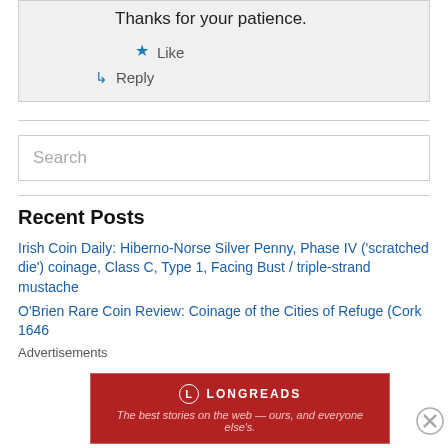Thanks for your patience.
★ Like
↳ Reply
Search
Recent Posts
Irish Coin Daily: Hiberno-Norse Silver Penny, Phase IV ('scratched die') coinage, Class C, Type 1, Facing Bust / triple-strand mustache
O'Brien Rare Coin Review: Coinage of the Cities of Refuge (Cork 1646...
Advertisements
[Figure (infographic): Longreads advertisement banner: red background with Longreads logo and tagline 'The best stories on the web — ours, and everyone else's.']